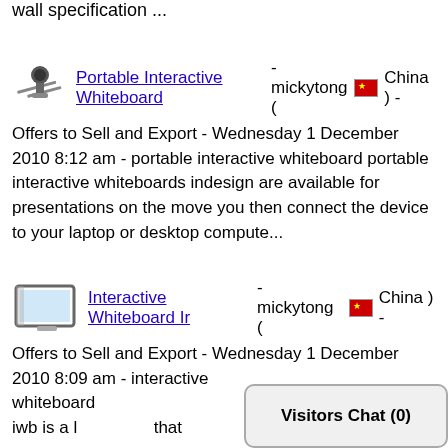wall specification ...
Portable Interactive Whiteboard - mickytong ( China ) - Offers to Sell and Export - Wednesday 1 December 2010 8:12 am - portable interactive whiteboard portable interactive whiteboards indesign are available for presentations on the move you then connect the device to your laptop or desktop compute...
Interactive Whiteboard Ir - mickytong ( China ) - Offers to Sell and Export - Wednesday 1 December 2010 8:09 am - interactive whiteboard whiteboard indesign ir iwb is a l... that ...
Visitors Chat (0)